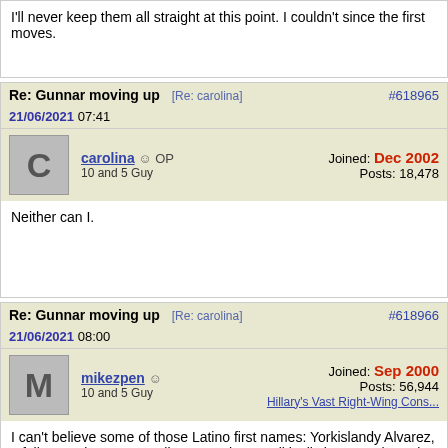I'll never keep them all straight at this point. I couldn't since the first moves.
Re: Gunnar moving up [Re: carolina] #618965 21/06/2021 07:41
carolina ☺ OP — 10 and 5 Guy — Joined: Dec 2002 — Posts: 18,478
Neither can I.
Re: Gunnar moving up [Re: carolina] #618966 21/06/2021 08:00
mikezpen ☺ — 10 and 5 Guy — Joined: Sep 2000 — Posts: 56,944 — Hillary's Vast Right-Wing Cons...
I can't believe some of those Latino first names: Yorkislandy Alvarez, Ofelky Peralta, Hanser Alberto. Perhaps politically incorrect here, but